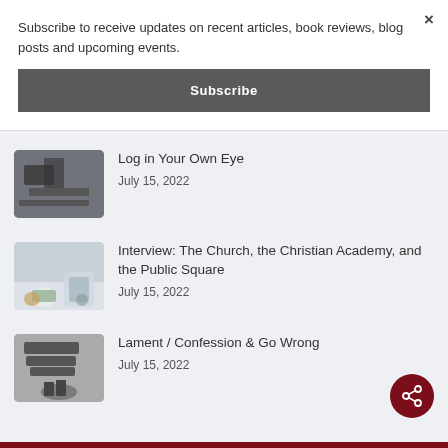Subscribe to receive updates on recent articles, book reviews, blog posts and upcoming events.
Subscribe
×
Log in Your Own Eye
July 15, 2022
Interview: The Church, the Christian Academy, and the Public Square
July 15, 2022
Lament / Confession & Go Wrong
July 15, 2022